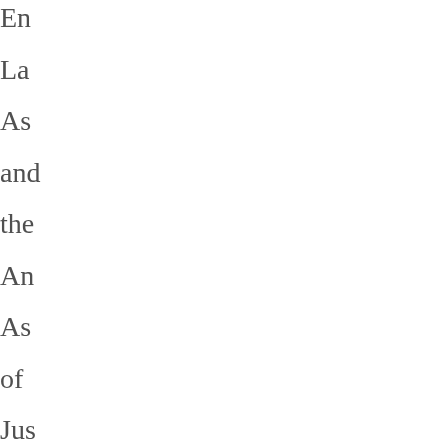En La As and the An As of Jus to the Na Co Vo for Lo Te Ca Ho